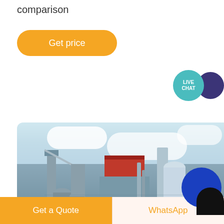comparison
Get price
[Figure (other): Live chat bubble icon with teal speech bubble labeled LIVE CHAT and dark purple circle]
[Figure (photo): Industrial factory / cement plant with steel structures, conveyors, and silos against a blue sky with clouds. Blue circle overlay and person silhouette in the bottom right.]
Get a Quote
WhatsApp